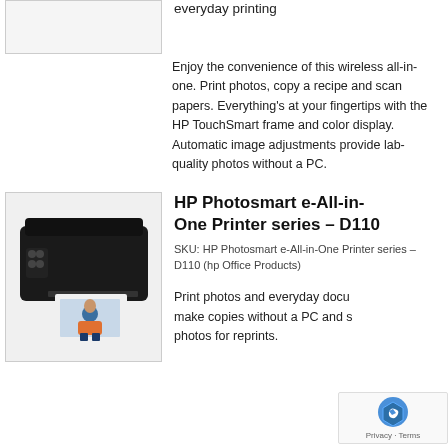[Figure (photo): Partial view of product image placeholder at top left]
everyday printing
Enjoy the convenience of this wireless all-in-one. Print photos, copy a recipe and scan papers. Everything's at your fingertips with the HP TouchSmart frame and color display. Automatic image adjustments provide lab-quality photos without a PC.
[Figure (photo): HP Photosmart e-All-in-One Printer series D110 product photo showing a black printer with a printed photo coming out]
HP Photosmart e-All-in-One Printer series – D110
SKU: HP Photosmart e-All-in-One Printer series – D110 (hp Office Products)
Print photos and everyday docu make copies without a PC and s photos for reprints.